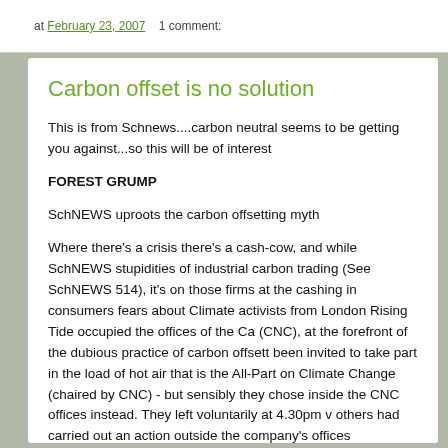at February 23, 2007   1 comment:
Carbon offset is no solution
This is from Schnews....carbon neutral seems to be getting you against...so this will be of interest
FOREST GRUMP
SchNEWS uproots the carbon offsetting myth
Where there's a crisis there's a cash-cow, and while SchNEWS stupidities of industrial carbon trading (See SchNEWS 514), it's on those firms at the cashing in consumers fears about Climate activists from London Rising Tide occupied the offices of the Ca (CNC), at the forefront of the dubious practice of carbon offsett been invited to take part in the load of hot air that is the All-Part on Climate Change (chaired by CNC) - but sensibly they chose inside the CNC offices instead. They left voluntarily at 4.30pm v others had carried out an action outside the company's offices